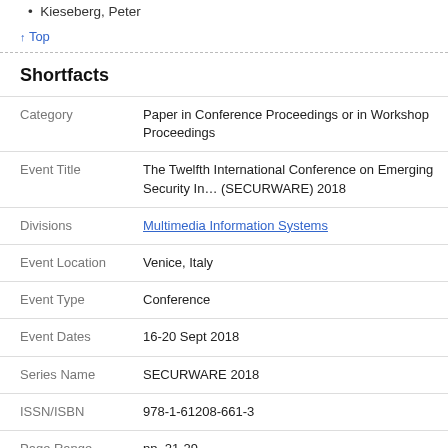Kieseberg, Peter
↑ Top
Shortfacts
| Field | Value |
| --- | --- |
| Category | Paper in Conference Proceedings or in Workshop Proceedings |
| Event Title | The Twelfth International Conference on Emerging Security Information Systems and Technologies (SECURWARE) 2018 |
| Divisions | Multimedia Information Systems |
| Event Location | Venice, Italy |
| Event Type | Conference |
| Event Dates | 16-20 Sept 2018 |
| Series Name | SECURWARE 2018 |
| ISSN/ISBN | 978-1-61208-661-3 |
| Page Range | pp. 21-29 |
| Date | 16 September 2018 |
| Export | BibTex ... Download |